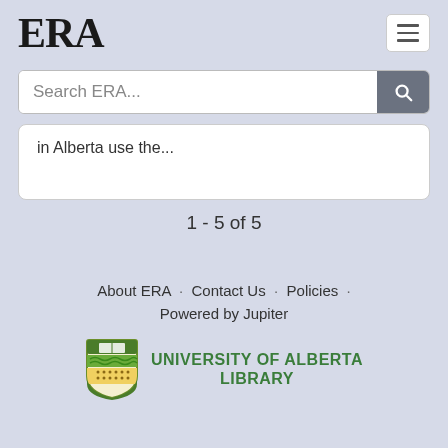ERA
Search ERA...
in Alberta use the...
1 - 5 of 5
About ERA · Contact Us · Policies · Powered by Jupiter UNIVERSITY OF ALBERTA LIBRARY